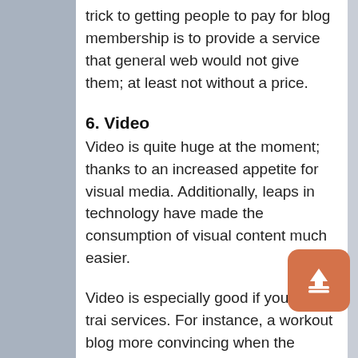trick to getting people to pay for blog membership is to provide a service that general web would not give them; at least not without a price.
6. Video
Video is quite huge at the moment; thanks to an increased appetite for visual media. Additionally, leaps in technology have made the consumption of visual content much easier.
Video is especially good if you sell trai services. For instance, a workout blog more convincing when the lessons are